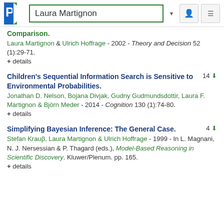Laura Martignon
Comparison.
Laura Martignon & Ulrich Hoffrage - 2002 - Theory and Decision 52 (1):29-71.
+ details
Children's Sequential Information Search is Sensitive to Environmental Probabilities.
14
Jonathan D. Nelson, Bojana Divjak, Gudny Gudmundsdottir, Laura F. Martignon & Björn Meder - 2014 - Cognition 130 (1):74-80.
+ details
Simplifying Bayesian Inference: The General Case.
4
Stefan Krauβ, Laura Martignon & Ulrich Hoffrage - 1999 - In L. Magnani, N. J. Nersessian & P. Thagard (eds.), Model-Based Reasoning in Scientific Discovery. Kluwer/Plenum. pp. 165.
+ details